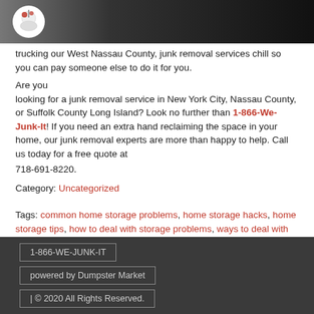1-866-We-Junk-It logo header
trucking our West Nassau County, junk removal services chill so you can pay someone else to do it for you. Are you looking for a junk removal service in New York City, Nassau County, or Suffolk County Long Island? Look no further than 1-866-We-Junk-It! If you need an extra hand reclaiming the space in your home, our junk removal experts are more than happy to help. Call us today for a free quote at 718-691-8220.
Category: Uncategorized
Tags: common home storage problems, home storage hacks, home storage tips, how to deal with storage problems, ways to deal with common home storage problems
1-866-WE-JUNK-IT | powered by Dumpster Market | © 2020 All Rights Reserved.